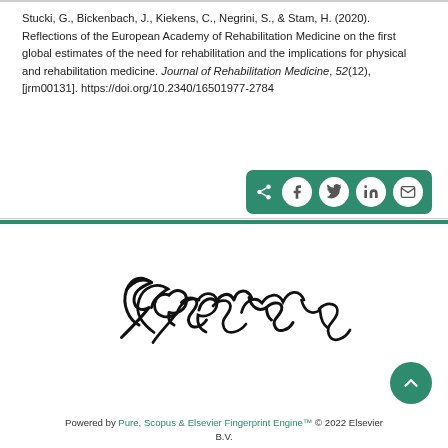Stucki, G., Bickenbach, J., Kiekens, C., Negrini, S., & Stam, H. (2020). Reflections of the European Academy of Rehabilitation Medicine on the first global estimates of the need for rehabilitation and the implications for physical and rehabilitation medicine. Journal of Rehabilitation Medicine, 52(12), [jrm00131]. https://doi.org/10.2340/16501977-2784
[Figure (other): Share bar with icons for share, Facebook, Twitter, LinkedIn, and email on a teal/green background]
[Figure (logo): Erasmus University script logo in black cursive lettering]
Powered by Pure, Scopus & Elsevier Fingerprint Engine™ © 2022 Elsevier B.V.